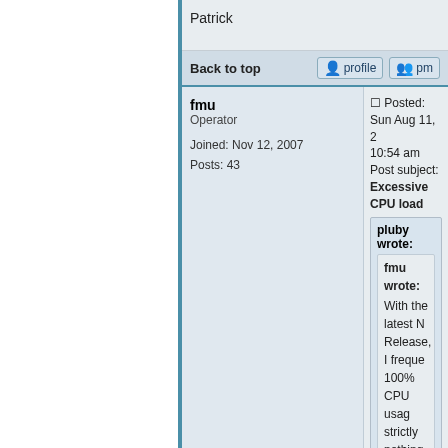Patrick
Back to top
fmu
Operator

Joined: Nov 12, 2007
Posts: 43
Posted: Sun Aug 11, 2 10:54 am    Post subject: Excessive CPU load
pluby wrote:
fmu wrote:
With the latest N Release, I freque 100% CPU usag strictly nothing (e a 152 pages doc opened). As som experienced this
The next time tha can you take a sa NeoOffice applica Activity Monitor ap attach the sample sample, I can usu in the NeoOffice c underlying OpenC